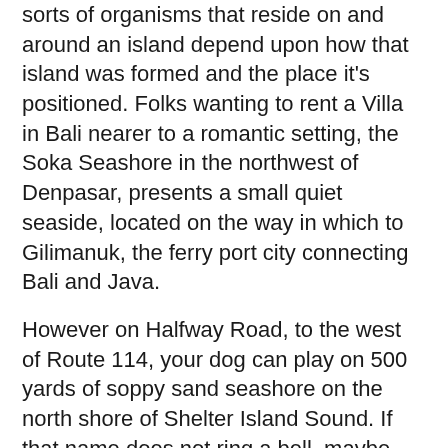sorts of organisms that reside on and around an island depend upon how that island was formed and the place it's positioned. Folks wanting to rent a Villa in Bali nearer to a romantic setting, the Soka Seashore in the northwest of Denpasar, presents a small quiet seaside, located on the way in which to Gilimanuk, the ferry port city connecting Bali and Java.
However on Halfway Road, to the west of Route 114, your dog can play on 500 yards of soppy sand seashore on the north shore of Shelter Island Sound. If that name does not ring a bell, maybe you've heard of some of the extra well-known individual islands: Majorca, Minorca, Ibiza and Formentera.
Aspect boarding islands are separated from the sidewalk by a bike channel, eliminating conflicts between transit vehicles and bikes at stops. On the close by island of Mykonos, famous for its events and celeb guests, Stacey Harris-Papaioannou admits she has been enjoying having the beaches largely to